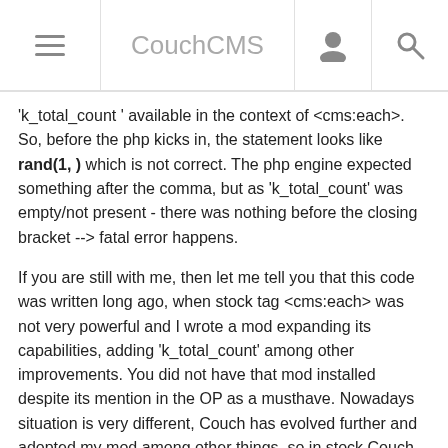CouchCMS
'k_total_count ' available in the context of <cms:each>. So, before the php kicks in, the statement looks like rand(1, ) which is not correct. The php engine expected something after the comma, but as 'k_total_count' was empty/not present - there was nothing before the closing bracket --> fatal error happens.
If you are still with me, then let me tell you that this code was written long ago, when stock tag <cms:each> was not very powerful and I wrote a mod expanding its capabilities, adding 'k_total_count' among other improvements. You did not have that mod installed despite its mention in the OP as a musthave. Nowadays situation is very different, Couch has evolved further and adopted my mod among other things, so in stock Couch code the variable has appeared but it is now called differently (KK's preferred a different name) - k_total_items.
In short, don't use the old 'cms:each' mod, change variable name so the whole line looks like this -